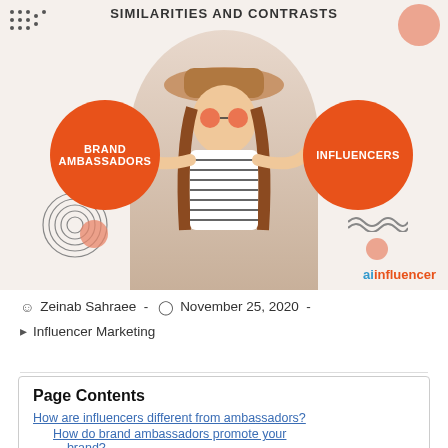[Figure (infographic): Marketing infographic showing a woman balancing two orange circles labeled 'BRAND AMBASSADORS' and 'INFLUENCERS', with decorative elements and the ainfluencer logo. Title reads 'SIMILARITIES AND CONTRASTS'.]
Zeinab Sahraee  -  November 25, 2020  -  Influencer Marketing
Page Contents
How are influencers different from ambassadors?
How do brand ambassadors promote your brand?